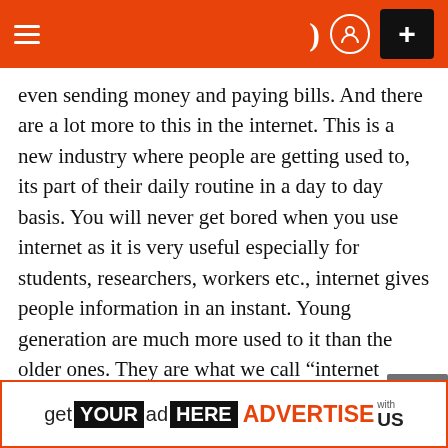≡ ) ⓘ +
even sending money and paying bills. And there are a lot more to this in the internet. This is a new industry where people are getting used to, its part of their daily routine in a day to day basis. You will never get bored when you use internet as it is very useful especially for students, researchers, workers etc., internet gives people information in an instant. Young generation are much more used to it than the older ones. They are what we call “internet savvy”, and they are into technologies and technical stuffs.
Upon doing online transactions, one must maintain
[Figure (screenshot): Advertisement banner: get YOUR ad HERE ADVERTISE with US]
✕ close